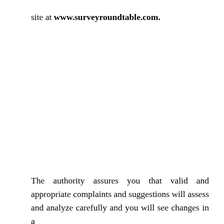site at www.surveyroundtable.com.
The authority assures you that valid and appropriate complaints and suggestions will assess and analyze carefully and you will see changes in a